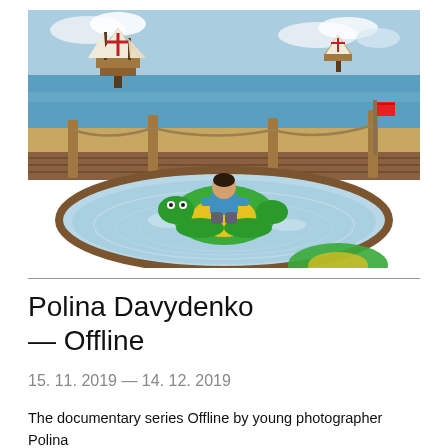[Figure (photo): A child sitting on a green and yellow inflatable float toy in an indoor pool or water play area. The background features a painted mural of a beach scene with sailing ships, a dock with wooden posts and ropes, blue sky and sea.]
Polina Davydenko — Offline
15. 11. 2019 — 14. 12. 2019
The documentary series Offline by young photographer Polina Davydenko (1995) is a sensitive insight into the everyday life of